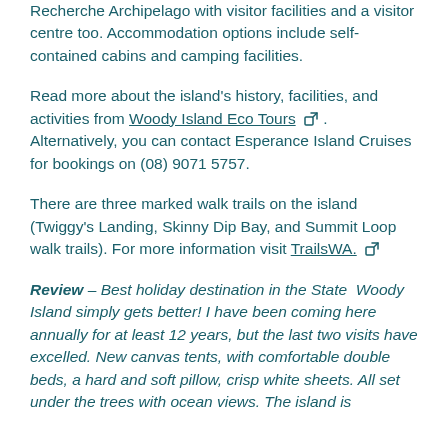Recherche Archipelago with visitor facilities and a visitor centre too. Accommodation options include self-contained cabins and camping facilities.
Read more about the island's history, facilities, and activities from Woody Island Eco Tours [link icon]. Alternatively, you can contact Esperance Island Cruises for bookings on (08) 9071 5757.
There are three marked walk trails on the island (Twiggy's Landing, Skinny Dip Bay, and Summit Loop walk trails). For more information visit TrailsWA. [link icon]
Review – Best holiday destination in the State  Woody Island simply gets better! I have been coming here annually for at least 12 years, but the last two visits have excelled. New canvas tents, with comfortable double beds, a hard and soft pillow, crisp white sheets. All set under the trees with ocean views. The island is